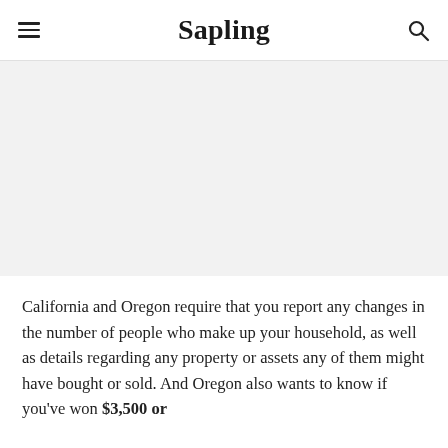Sapling
[Figure (photo): Large image placeholder area with light gray background]
California and Oregon require that you report any changes in the number of people who make up your household, as well as details regarding any property or assets any of them might have bought or sold. And Oregon also wants to know if you've won $3,500 or